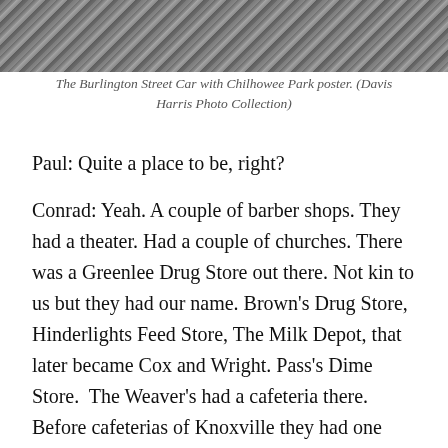[Figure (photo): Black and white photograph of the Burlington Street Car with Chilhowee Park poster, top portion visible]
The Burlington Street Car with Chilhowee Park poster. (Davis Harris Photo Collection)
Paul: Quite a place to be, right?
Conrad: Yeah. A couple of barber shops. They had a theater. Had a couple of churches. There was a Greenlee Drug Store out there. Not kin to us but they had our name. Brown’s Drug Store, Hinderlights Feed Store, The Milk Depot, that later became Cox and Wright. Pass’s Dime Store.  The Weaver’s had a cafeteria there. Before cafeterias of Knoxville they had one right here on Broadway where they rent wheels now. They had one in Burlington. Had one on Papermill. And one on Magnolia. Pretty big operation.